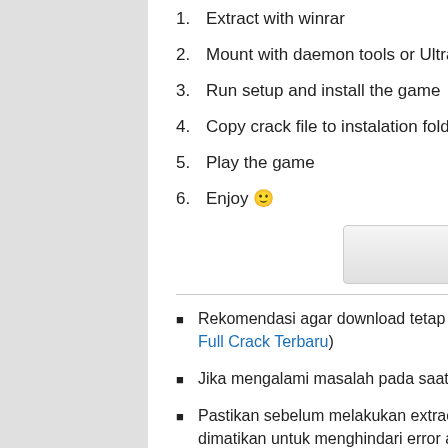1. Extract with winrar
2. Mount with daemon tools or Ultraiso
3. Run setup and install the game
4. Copy crack file to instalation folder
5. Play the game
6. Enjoy 🙂
Download Setup
Rekomendasi agar download tetap optimal menggunakan IDM versi terbaru (Download IDM Full Crack Terbaru)
Jika mengalami masalah pada saat extract baca cara mengatasi file corrupt
Pastikan sebelum melakukan extract dan instal game, antivirus dan windows defender dimatikan untuk menghindari error atau file